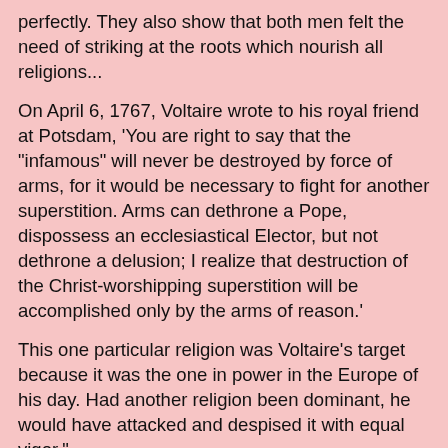perfectly. They also show that both men felt the need of striking at the roots which nourish all religions...
On April 6, 1767, Voltaire wrote to his royal friend at Potsdam, 'You are right to say that the "infamous" will never be destroyed by force of arms, for it would be necessary to fight for another superstition. Arms can dethrone a Pope, dispossess an ecclesiastical Elector, but not dethrone a delusion; I realize that destruction of the Christ-worshipping superstition will be accomplished only by the arms of reason.'
This one particular religion was Voltaire's target because it was the one in power in the Europe of his day. Had another religion been dominant, he would have attacked and despised it with equal vigor."
"Aspere aude! -- 'Dare to use your own reason!' -- that is the motto of enlightenment." [Immanuel Kant]
Some people add to this information: This is an excellent essay which speaks in general about superstition - however - I think it leaves out a few crucial monetary concerns and political concerns of the past times in question. For instance, most witch burnings occurred when the accuser got to own the property of the accused, once the accused was...